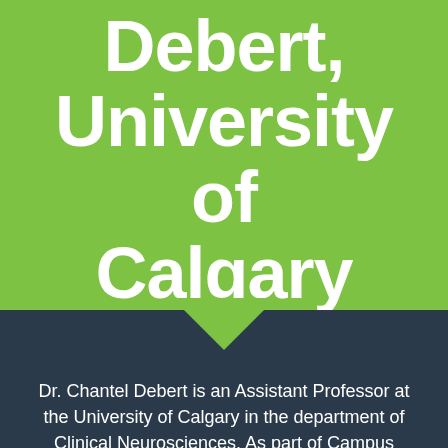Debert, University of Calgary
Dr. Chantel Debert is an Assistant Professor at the University of Calgary in the department of Clinical Neurosciences. As part of Campus Alberta Neuroscience's Nervous System Injury Research Theme, Dr. Debert is...